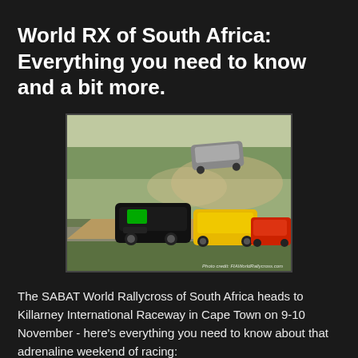World RX of South Africa: Everything you need to know and a bit more.
[Figure (photo): Rallycross race photo showing multiple cars on a dirt/tarmac track, with one car airborne. Photo credit: FIAWorldRallycross.com]
The SABAT World Rallycross of South Africa heads to Killarney International Raceway in Cape Town on 9-10 November - here's everything you need to know about that adrenaline weekend of racing:
New World Champions will be crowned on South